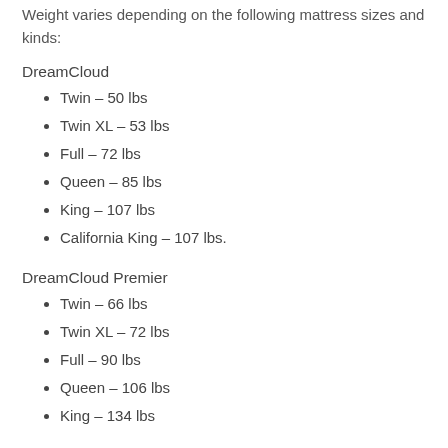Weight varies depending on the following mattress sizes and kinds:
DreamCloud
Twin – 50 lbs
Twin XL – 53 lbs
Full – 72 lbs
Queen – 85 lbs
King – 107 lbs
California King – 107 lbs.
DreamCloud Premier
Twin – 66 lbs
Twin XL – 72 lbs
Full – 90 lbs
Queen – 106 lbs
King – 134 lbs